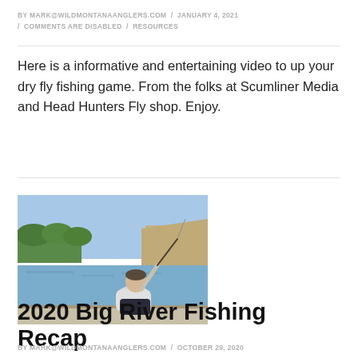BY MARK@WILDMONTANAANGLERS.COM / JANUARY 4, 2021 / COMMENTS ARE DISABLED / RESOURCES
Here is a informative and entertaining video to up your dry fly fishing game. From the folks at Scumliner Media and Head Hunters Fly shop. Enjoy.
[Figure (photo): Man sitting on the edge of a boat casting a fly fishing rod on a wide river with rocky banks and trees in the background under a blue sky.]
2020 Big River Fishing Recap
BY MARK@WILDMONTANAANGLERS.COM / OCTOBER 29, 2020